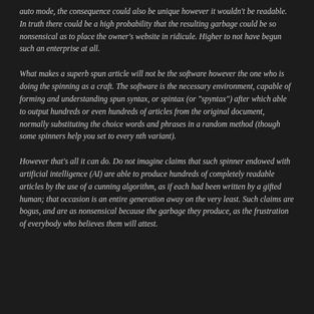auto mode, the consequence could also be unique however it wouldn't be readable. In truth there could be a high probability that the resulting garbage could be so nonsensical as to place the owner's website in ridicule. Higher to not have begun such an enterprise at all.
What makes a superb spun article will not be the software however the one who is doing the spinning as a craft. The software is the necessary environment, capable of forming and understanding spun syntax, or spintax (or "spyntax") after which able to output hundreds or even hundreds of articles from the original document, normally substituting the choice words and phrases in a random method (though some spinners help you set to every nth variant).
However that's all it can do. Do not imagine claims that such spinner endowed with artificial intelligence (AI) are able to produce hundreds of completely readable articles by the use of a cunning algorithm, as if each had been written by a gifted human; that occasion is an entire generation away on the very least. Such claims are bogus, and are as nonsensical because the garbage they produce, as the frustration of everybody who believes them will attest.